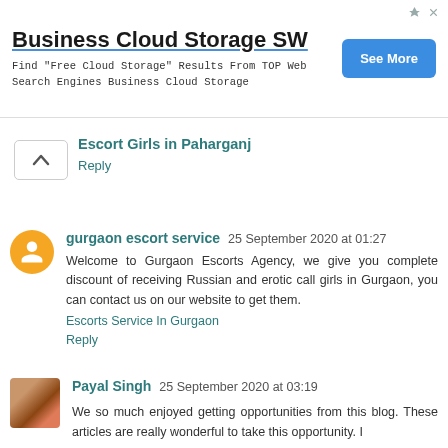[Figure (other): Advertisement banner for Business Cloud Storage SW with See More button]
Escort Girls in Paharganj
Reply
gurgaon escort service 25 September 2020 at 01:27
Welcome to Gurgaon Escorts Agency, we give you complete discount of receiving Russian and erotic call girls in Gurgaon, you can contact us on our website to get them.
Escorts Service In Gurgaon
Reply
Payal Singh 25 September 2020 at 03:19
We so much enjoyed getting opportunities from this blog. These articles are really wonderful to take this opportunity. I